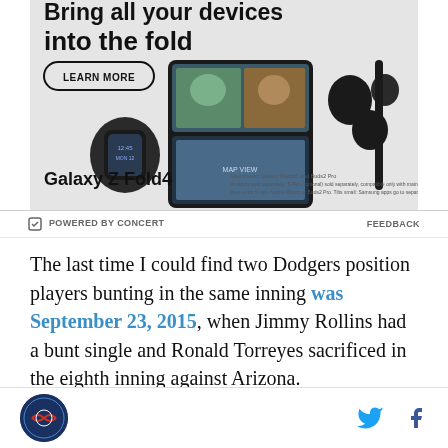[Figure (illustration): Samsung Galaxy Z Fold4 advertisement showing a foldable phone with video call, a smartwatch, wireless earbuds, and a stylus. Text reads 'Bring all your devices into the fold' with a 'LEARN MORE' button and fine print about products sold separately.]
POWERED BY CONCERT    FEEDBACK
The last time I could find two Dodgers position players bunting in the same inning was September 23, 2015, when Jimmy Rollins had a bunt single and Ronald Torreyes sacrificed in the eighth inning against Arizona.
The other high-leverage challenge came in the eighth, when Brusdar Graterol was brought in to face Tatis
[Figure (logo): Sports team logo (circular, navy blue background) at bottom left, with Twitter and Facebook share icons at bottom right]